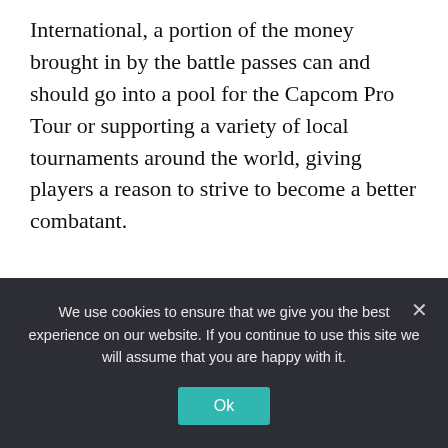International, a portion of the money brought in by the battle passes can and should go into a pool for the Capcom Pro Tour or supporting a variety of local tournaments around the world, giving players a reason to strive to become a better combatant.
Street Fighter is a pretty big name in video games, but if you look at sales numbers for the most recent entry (selling around 6 million copies across PS4 and PC), it falls far short of titles like Mortal Kombat 11 and Super Smash
We use cookies to ensure that we give you the best experience on our website. If you continue to use this site we will assume that you are happy with it.